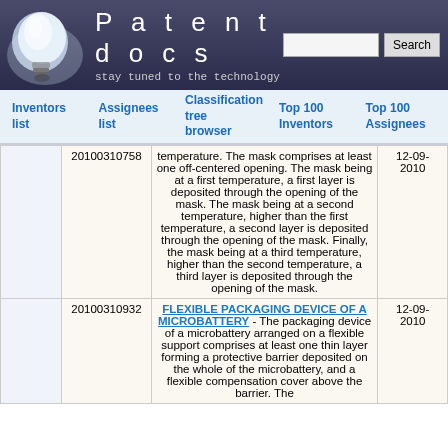[Figure (screenshot): Patentdocs website header with lightbulb logo, site title 'Patentdocs', subtitle 'stay tuned to the technology', and search box with Search button]
Inventors list | Assignees list | Classification tree browser | Top 100 Inventors | Top 100 Assignees
|  | Publication Number | Description | Date |
| --- | --- | --- | --- |
|  | 20100310758 | temperature. The mask comprises at least one off-centered opening. The mask being at a first temperature, a first layer is deposited through the opening of the mask. The mask being at a second temperature, higher than the first temperature, a second layer is deposited through the opening of the mask. Finally, the mask being at a third temperature, higher than the second temperature, a third layer is deposited through the opening of the mask. | 12-09-2010 |
|  | 20100310932 | FLEXIBLE PACKAGING DEVICE OF A MICROBATTERY - The packaging device of a microbattery arranged on a flexible support comprises at least one thin layer forming a protective barrier deposited on the whole of the microbattery, and a flexible compensation cover above the barrier. The | 12-09-2010 |